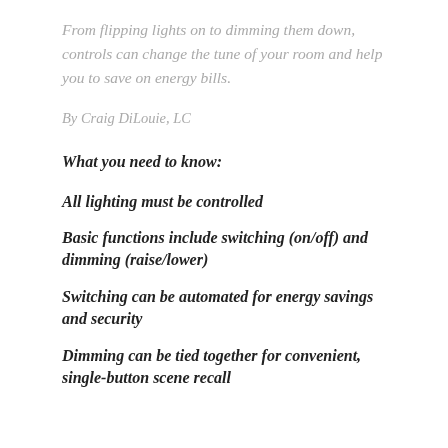From flipping lights on to dimming them down, controls can change the tune of your room and help you to save on energy bills.
By Craig DiLouie, LC
What you need to know:
All lighting must be controlled
Basic functions include switching (on/off) and dimming (raise/lower)
Switching can be automated for energy savings and security
Dimming can be tied together for convenient, single-button scene recall